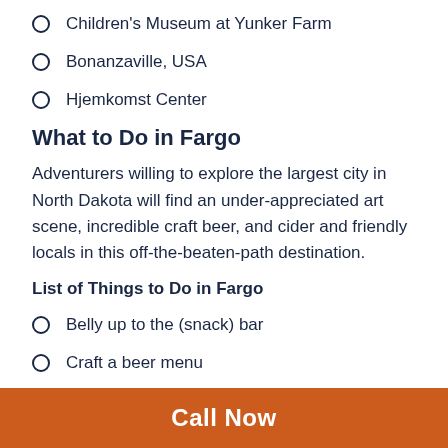Children's Museum at Yunker Farm
Bonanzaville, USA
Hjemkomst Center
What to Do in Fargo
Adventurers willing to explore the largest city in North Dakota will find an under-appreciated art scene, incredible craft beer, and cider and friendly locals in this off-the-beaten-path destination.
List of Things to Do in Fargo
Belly up to the (snack) bar
Craft a beer menu
Stroll along Broadway
Call Now